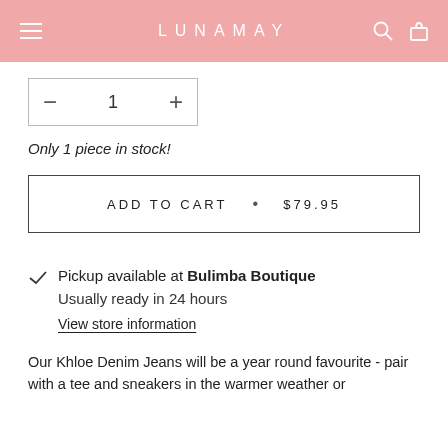LUNAMAY
1
Only 1 piece in stock!
ADD TO CART • $79.95
Pickup available at Bulimba Boutique
Usually ready in 24 hours
View store information
Our Khloe Denim Jeans will be a year round favourite - pair with a tee and sneakers in the warmer weather or